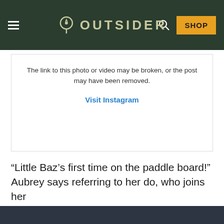OUTSIDER
[Figure (screenshot): Instagram embedded post placeholder with broken link message and Visit Instagram link]
The link to this photo or video may be broken, or the post may have been removed.
Visit Instagram
“Little Baz’s first time on the paddle board!” Aubrey says referring to her do, who joins her